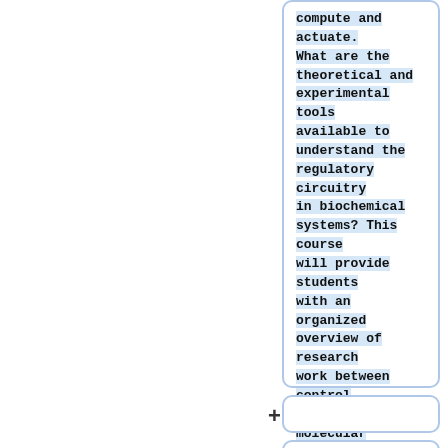compute and actuate. What are the theoretical and experimental tools available to understand the regulatory circuitry in biochemical systems? This course will provide students with an organized overview of research work between control theory and molecular biology.
+
The first part of the class will be dedicated to modeling, identification and